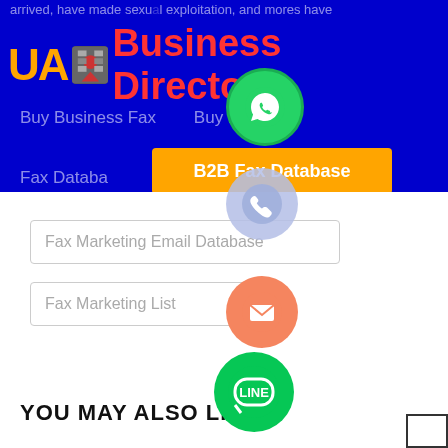arrived, have made sexual exploitation, and mores have
[Figure (logo): UA Business Directory logo with orange UA text and red Business Directory text]
Buy Business Fax  Buy Fax List
B2B Fax Database
Fax Database
Fax Marketing Email Database
Fax Marketing List
YOU MAY ALSO LIKE
[Figure (illustration): WhatsApp green circle icon]
[Figure (illustration): Phone/call light blue circle icon]
[Figure (illustration): Email orange circle icon with envelope]
[Figure (illustration): LINE green circle icon]
[Figure (illustration): Viber purple circle icon]
[Figure (illustration): Green plus/add circle icon]